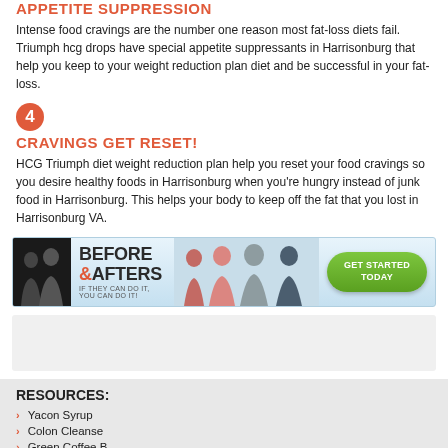APPETITE SUPPRESSION
Intense food cravings are the number one reason most fat-loss diets fail. Triumph hcg drops have special appetite suppressants in Harrisonburg that help you keep to your weight reduction plan diet and be successful in your fat-loss.
4 CRAVINGS GET RESET!
HCG Triumph diet weight reduction plan help you reset your food cravings so you desire healthy foods in Harrisonburg when you're hungry instead of junk food in Harrisonburg. This helps your body to keep off the fat that you lost in Harrisonburg VA.
[Figure (infographic): Before and Afters banner advertisement showing people before and after weight loss, with a green 'GET STARTED TODAY' call-to-action button.]
[Figure (other): Gray placeholder box]
RESOURCES:
Yacon Syrup
Colon Cleanse
Green Coffee Bean